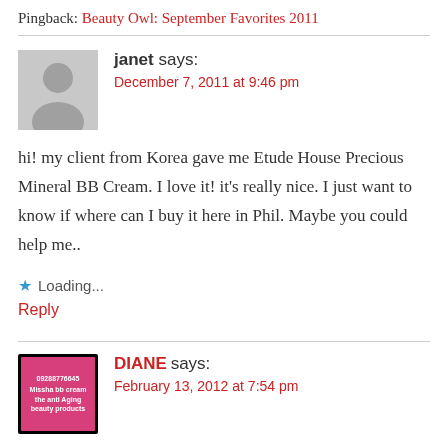Pingback: Beauty Owl: September Favorites 2011
janet says:
December 7, 2011 at 9:46 pm
hi! my client from Korea gave me Etude House Precious Mineral BB Cream. I love it! it’s really nice. I just want to know if where can I buy it here in Phil. Maybe you could help me..
★ Loading...
Reply
DIANE says:
February 13, 2012 at 7:54 pm